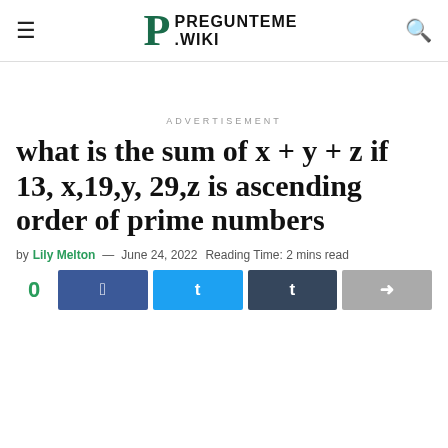PREGUNTEME .WIKI
ADVERTISEMENT
what is the sum of x + y + z if 13, x,19,y, 29,z is ascending order of prime numbers
by Lily Melton — June 24, 2022  Reading Time: 2 mins read
0 SHARES [social share buttons: Facebook, Twitter, Tumblr, Share]